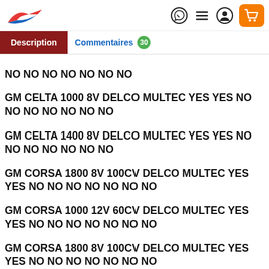Logo and navigation icons
Description | Commentaires 30
NO NO NO NO NO NO NO
GM CELTA 1000 8V DELCO MULTEC YES YES NO NO NO NO NO NO NO
GM CELTA 1400 8V DELCO MULTEC YES YES NO NO NO NO NO NO NO
GM CORSA 1800 8V 100CV DELCO MULTEC YES YES NO NO NO NO NO NO NO
GM CORSA 1000 12V 60CV DELCO MULTEC YES YES NO NO NO NO NO NO NO
GM CORSA 1800 8V 100CV DELCO MULTEC YES YES NO NO NO NO NO NO NO
GM MERIVA 1800 16V 125CV DELCO MULTEC YES YES NO NO NO NO NO NO NO
GM MERIVA 1800 8V 100CV DELCO MULTEC YES YES NO NO NO NO NO NO NO
GM OMEGA 3600 V6 BOSCH ME9.X YES YES NO NO NO YES NO NO NO